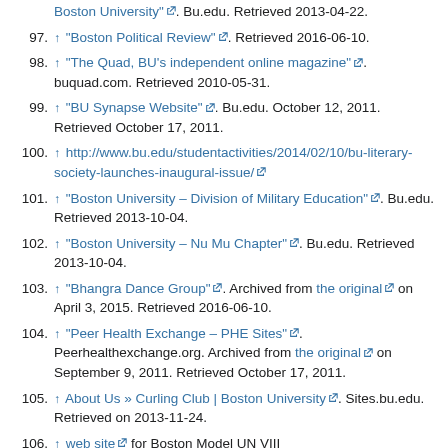↑ "Boston Political Review". Retrieved 2016-06-10.
↑ "The Quad, BU's independent online magazine". buquad.com. Retrieved 2010-05-31.
↑ "BU Synapse Website". Bu.edu. October 12, 2011. Retrieved October 17, 2011.
↑ http://www.bu.edu/studentactivities/2014/02/10/bu-literary-society-launches-inaugural-issue/
↑ "Boston University – Division of Military Education". Bu.edu. Retrieved 2013-10-04.
↑ "Boston University – Nu Mu Chapter". Bu.edu. Retrieved 2013-10-04.
↑ "Bhangra Dance Group". Archived from the original on April 3, 2015. Retrieved 2016-06-10.
↑ "Peer Health Exchange – PHE Sites". Peerhealthexchange.org. Archived from the original on September 9, 2011. Retrieved October 17, 2011.
↑ About Us » Curling Club | Boston University. Sites.bu.edu. Retrieved on 2013-11-24.
↑ web site for Boston Model UN VIII
↑ "web site". United Nations. Retrieved October 17, 2011.
↑ "Student Activities Office Web site about Fraternity/Sorority